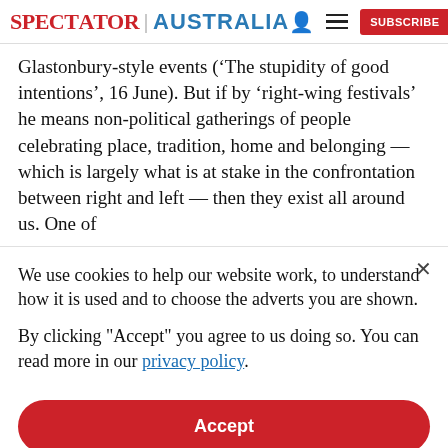SPECTATOR | AUSTRALIA
Glastonbury-style events ('The stupidity of good intentions', 16 June). But if by 'right-wing festivals' he means non-political gatherings of people celebrating place, tradition, home and belonging — which is largely what is at stake in the confrontation between right and left — then they exist all around us. One of
We use cookies to help our website work, to understand how it is used and to choose the adverts you are shown.

By clicking "Accept" you agree to us doing so. You can read more in our privacy policy.
Accept